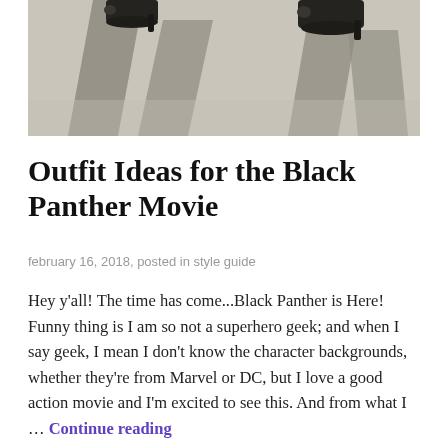[Figure (photo): Photo showing two pairs of feet wearing black open-toe heeled shoes on a concrete surface, with long diagonal shadows cast behind them.]
Outfit Ideas for the Black Panther Movie
february 16, 2018, posted in style guide
Hey y'all! The time has come...Black Panther is Here! Funny thing is I am so not a superhero geek; and when I say geek, I mean I don't know the character backgrounds, whether they're from Marvel or DC, but I love a good action movie and I'm excited to see this. And from what I … Continue reading